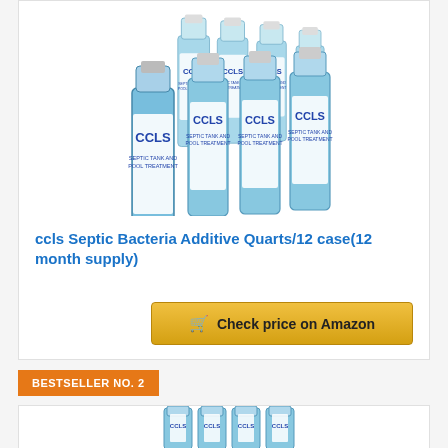[Figure (photo): Multiple CCLS Septic Tank and Pool Treatment quart bottles arranged in a group, blue liquid visible through clear bottles with white labels]
ccls Septic Bacteria Additive Quarts/12 case(12 month supply)
Check price on Amazon
BESTSELLER NO. 2
[Figure (photo): CCLS septic treatment bottles partially visible at bottom of page]